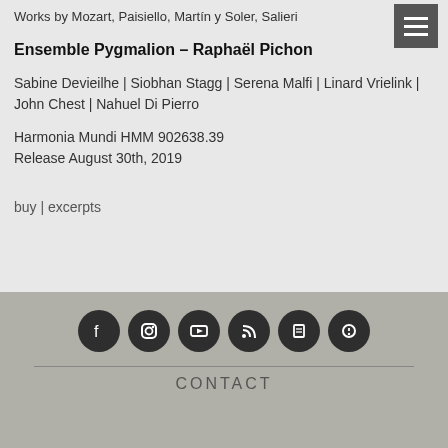Works by Mozart, Paisiello, Martín y Soler, Salieri
Ensemble Pygmalion – Raphaël Pichon
Sabine Devieilhe | Siobhan Stagg | Serena Malfi | Linard Vrielink | John Chest | Nahuel Di Pierro
Harmonia Mundi HMM 902638.39
Release August 30th, 2019
buy | excerpts
[Figure (other): Footer with social media icons (Facebook, Instagram, YouTube, RSS, and two others) and a CONTACT link]
CONTACT